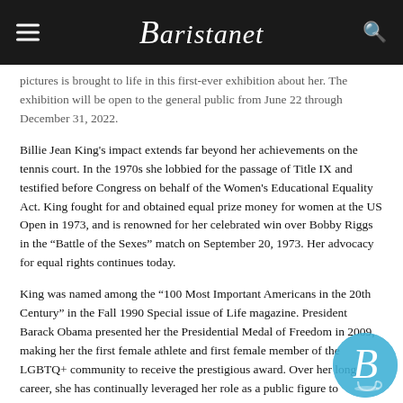Baristanet
pictures is brought to life in this first-ever exhibition about her. The exhibition will be open to the general public from June 22 through December 31, 2022.
Billie Jean King's impact extends far beyond her achievements on the tennis court. In the 1970s she lobbied for the passage of Title IX and testified before Congress on behalf of the Women's Educational Equality Act. King fought for and obtained equal prize money for women at the US Open in 1973, and is renowned for her celebrated win over Bobby Riggs in the “Battle of the Sexes” match on September 20, 1973. Her advocacy for equal rights continues today.
King was named among the “100 Most Important Americans in the 20th Century” in the Fall 1990 Special issue of Life magazine. President Barack Obama presented her the Presidential Medal of Freedom in 2009, making her the first female athlete and first female member of the LGBTQ+ community to receive the prestigious award. Over her long career, she has continually leveraged her role as a public figure to champion human rights